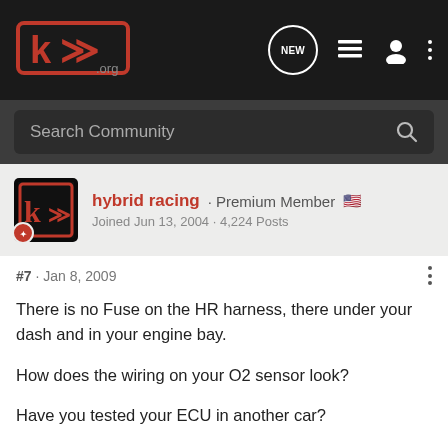[Figure (logo): K20a.org logo with stylized K and 'org' text in red on dark background, top navigation bar with NEW chat bubble icon, list icon, user icon, and three-dot menu]
Search Community
hybrid racing · Premium Member 🇺🇸
Joined Jun 13, 2004 · 4,224 Posts
#7 · Jan 8, 2009
There is no Fuse on the HR harness, there under your dash and in your engine bay.

How does the wiring on your O2 sensor look?

Have you tested your ECU in another car?

Open the ECU case and see if it smells burnt, usually if you damage the ECU it gets a toasty smell to it.